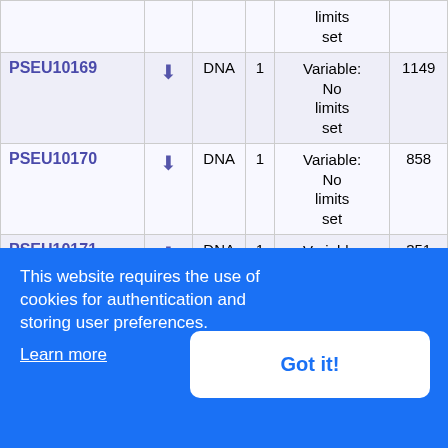| ID |  | Type | Num | Limits | Count |
| --- | --- | --- | --- | --- | --- |
|  |  |  |  | limits set |  |
| PSEU10169 | ⬇ | DNA | 1 | Variable: No limits set | 1149 |
| PSEU10170 | ⬇ | DNA | 1 | Variable: No limits set | 858 |
| PSEU10171 | ⬇ | DNA | 1 | Variable: No limits set | 351 |
| PSEU10172 | ⬇ | DNA | 1 | Variable: No... | 366 |
This website requires the use of cookies for authentication and storing user preferences.
Learn more
Got it!